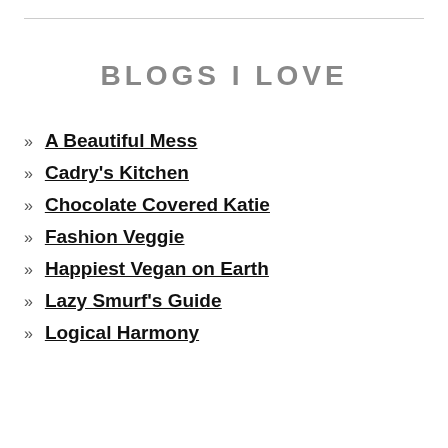BLOGS I LOVE
A Beautiful Mess
Cadry's Kitchen
Chocolate Covered Katie
Fashion Veggie
Happiest Vegan on Earth
Lazy Smurf's Guide
Logical Harmony